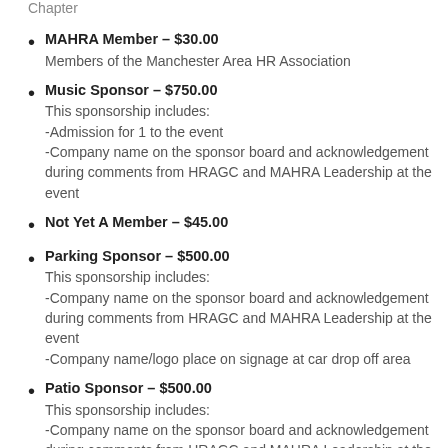Chapter
MAHRA Member – $30.00
Members of the Manchester Area HR Association
Music Sponsor – $750.00
This sponsorship includes:
-Admission for 1 to the event
-Company name on the sponsor board and acknowledgement during comments from HRAGC and MAHRA Leadership at the event
Not Yet A Member – $45.00
Parking Sponsor – $500.00
This sponsorship includes:
-Company name on the sponsor board and acknowledgement during comments from HRAGC and MAHRA Leadership at the event
-Company name/logo place on signage at car drop off area
Patio Sponsor – $500.00
This sponsorship includes:
-Company name on the sponsor board and acknowledgement during comments from HRAGC and MAHRA Leadership at the event